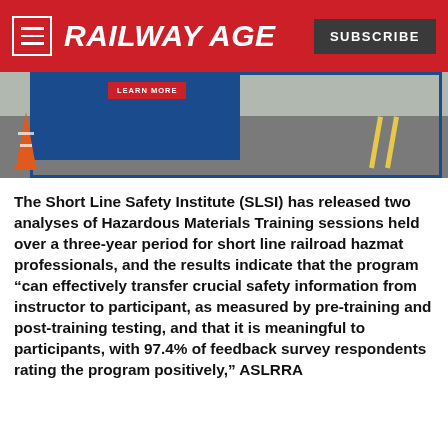RAILWAY AGE
[Figure (photo): Road/crossing scene with blue sign, orange traffic cone, asphalt road with yellow lines, and a 'LEARN MORE' button overlay]
The Short Line Safety Institute (SLSI) has released two analyses of Hazardous Materials Training sessions held over a three-year period for short line railroad hazmat professionals, and the results indicate that the program “can effectively transfer crucial safety information from instructor to participant, as measured by pre-training and post-training testing, and that it is meaningful to participants, with 97.4% of feedback survey respondents rating the program positively,” ASLRRA